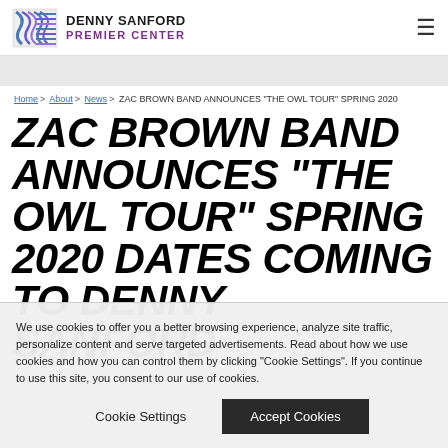DENNY SANFORD PREMIER CENTER
Home > About > News > ZAC BROWN BAND ANNOUNCES "THE OWL TOUR" SPRING 2020
ZAC BROWN BAND ANNOUNCES “THE OWL TOUR” SPRING 2020 DATES COMING TO DENNY SANFORD
We use cookies to offer you a better browsing experience, analyze site traffic, personalize content and serve targeted advertisements. Read about how we use cookies and how you can control them by clicking "Cookie Settings". If you continue to use this site, you consent to our use of cookies.